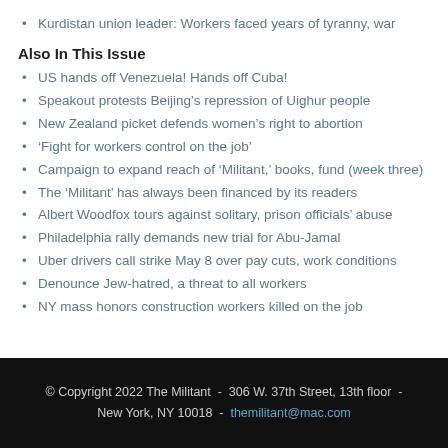Kurdistan union leader: Workers faced years of tyranny, war
Also In This Issue
US hands off Venezuela! Hands off Cuba!
Speakout protests Beijing’s repression of Uighur people
New Zealand picket defends women’s right to abortion
‘Fight for workers control on the job’
Campaign to expand reach of ‘Militant,’ books, fund (week three)
The ‘Militant’ has always been financed by its readers
Albert Woodfox tours against solitary, prison officials’ abuse
Philadelphia rally demands new trial for Abu-Jamal
Uber drivers call strike May 8 over pay cuts, work conditions
Denounce Jew-hatred, a threat to all workers
NY mass honors construction workers killed on the job
© Copyright 2022 The Militant - 306 W. 37th Street, 13th floor - New York, NY 10018 - themilitant@mac.com